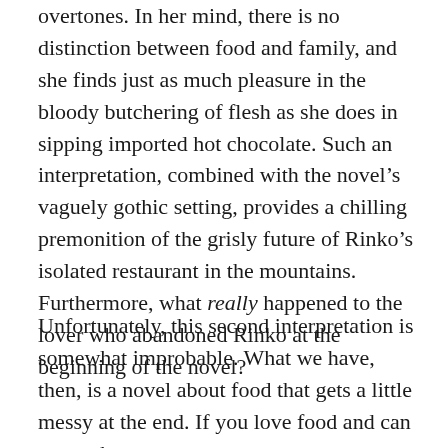overtones. In her mind, there is no distinction between food and family, and she finds just as much pleasure in the bloody butchering of flesh as she does in sipping imported hot chocolate. Such an interpretation, combined with the novel's vaguely gothic setting, provides a chilling premonition of the grisly future of Rinko's isolated restaurant in the mountains. Furthermore, what really happened to the lover who abandoned Rinko at the beginning of the novel?
Unfortunately, this second interpretation is somewhat improbable. What we have, then, is a novel about food that gets a little messy at the end. If you love food and can stomach an